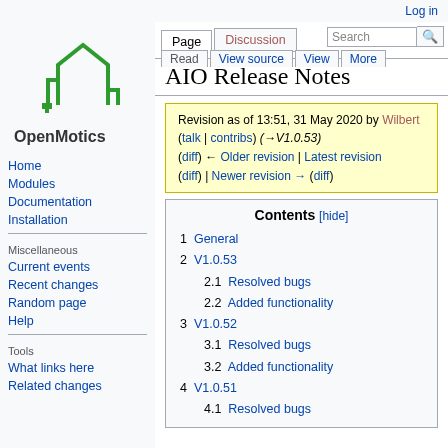Log in
[Figure (logo): OpenMotics logo - green house/building icon above text 'OpenMotics']
Page | Discussion | Read | View source | View | More | Search
AIO Release Notes
Revision as of 13:51, 31 May 2020 by Wilbert (talk | contribs) (→V1.0.53)
(diff) ← Older revision | Latest revision (diff) | Newer revision → (diff)
1  General
2  V1.0.53
2.1  Resolved bugs
2.2  Added functionality
3  V1.0.52
3.1  Resolved bugs
3.2  Added functionality
4  V1.0.51
4.1  Resolved bugs
Home
Modules
Documentation
Installation
Miscellaneous
Current events
Recent changes
Random page
Help
Tools
What links here
Related changes